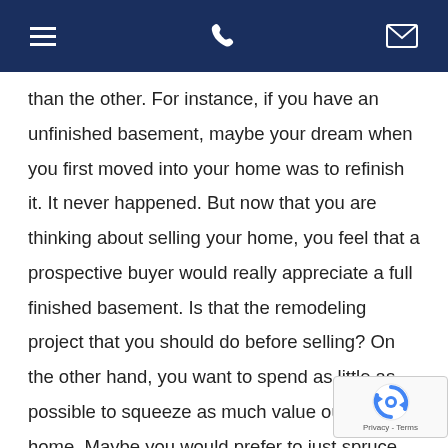[navigation bar with hamburger menu, phone icon, and email icon]
than the other. For instance, if you have an unfinished basement, maybe your dream when you first moved into your home was to refinish it. It never happened. But now that you are thinking about selling your home, you feel that a prospective buyer would really appreciate a full finished basement. Is that the remodeling project that you should do before selling? On the other hand, you want to spend as little as possible to squeeze as much value out of your home. Maybe you would prefer to just spruce up the k cabinets or repaint the house. Whichever camp
[Figure (logo): reCAPTCHA badge with blue circular arrow logo and 'Privacy - Terms' text]